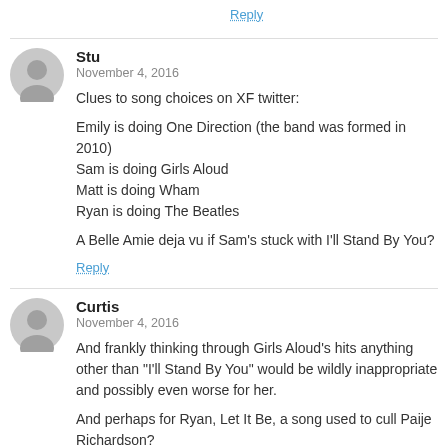Reply
Stu
November 4, 2016

Clues to song choices on XF twitter:

Emily is doing One Direction (the band was formed in 2010)
Sam is doing Girls Aloud
Matt is doing Wham
Ryan is doing The Beatles

A Belle Amie deja vu if Sam's stuck with I'll Stand By You?
Reply
Curtis
November 4, 2016

And frankly thinking through Girls Aloud's hits anything other than "I'll Stand By You" would be wildly inappropriate and possibly even worse for her.

And perhaps for Ryan, Let It Be, a song used to cull Paije Richardson?